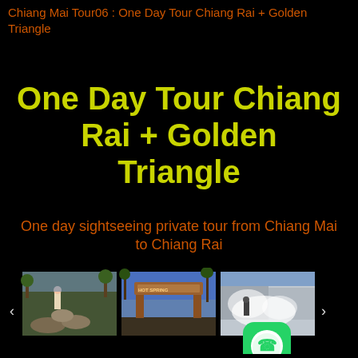Chiang Mai Tour06 : One Day Tour Chiang Rai + Golden Triangle
One Day Tour Chiang Rai + Golden Triangle
One day sightseeing private tour from Chiang Mai to Chiang Rai
[Figure (photo): Three thumbnail photos of Chiang Rai tour locations: rocky outdoor scene with person, a wooden sign/entrance arch, and person near steam/mist. With left/right carousel arrows and WhatsApp icon overlay.]